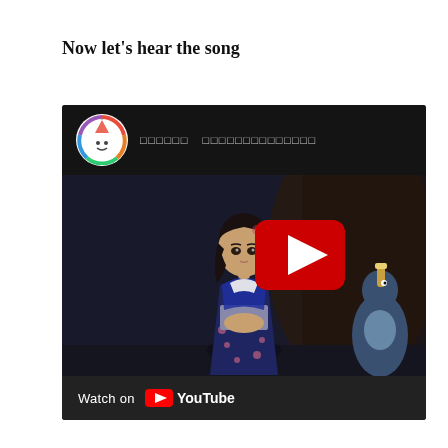Now let’s hear the song
[Figure (screenshot): An embedded YouTube video thumbnail showing an anime girl in a blue kimono standing in a dark scene, with a bird-like creature partially visible on the right. A YouTube play button is overlaid in the center-right. The video top bar shows a circular avatar with a rainbow smiley face logo and Japanese text. The bottom bar shows 'Watch on YouTube' with the YouTube logo.]